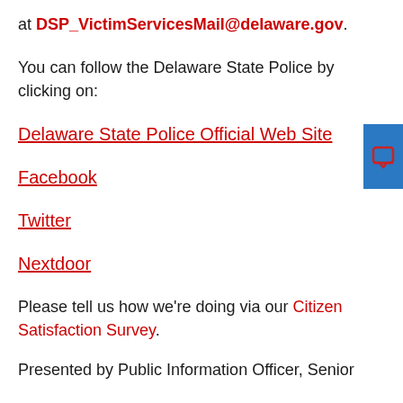at DSP_VictimServicesMail@delaware.gov.
You can follow the Delaware State Police by clicking on:
Delaware State Police Official Web Site
Facebook
Twitter
Nextdoor
Please tell us how we're doing via our Citizen Satisfaction Survey.
Presented by Public Information Officer, Senior